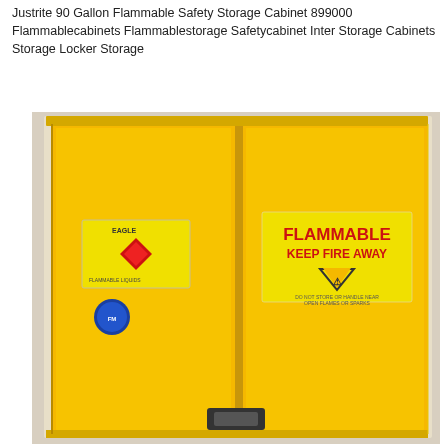Justrite 90 Gallon Flammable Safety Storage Cabinet 899000 Flammablecabinets Flammablestorage Safetycabinet Inter Storage Cabinets Storage Locker Storage
[Figure (photo): Yellow flammable safety storage cabinet with two doors. Left door has an Eagle brand label with a red diamond hazmat symbol and a blue circular label. Right door has a red-text 'FLAMMABLE KEEP FIRE AWAY' warning label and a yellow triangle caution symbol with additional smaller text below. Cabinet has a beige/cream colored frame and a dark handle/latch at the bottom center.]